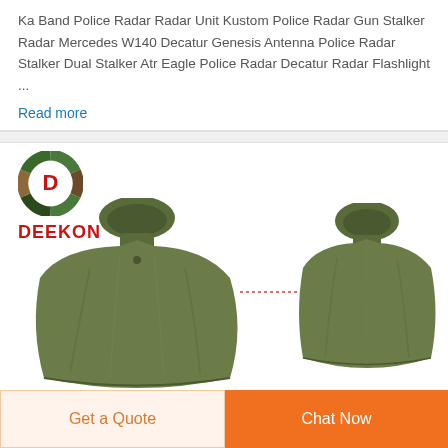Ka Band Police Radar Radar Unit Kustom Police Radar Gun Stalker Radar Mercedes W140 Decatur Genesis Antenna Police Radar Stalker Dual Stalker Atr Eagle Police Radar Decatur Radar Flashlight ...
Read more
[Figure (photo): DEEKON brand logo with camouflage-patterned circular emblem and red DEEKON text, alongside two views of an olive/army green hooded military poncho/rain cape — front-left view and rear view]
Get a Quote
Chat Now